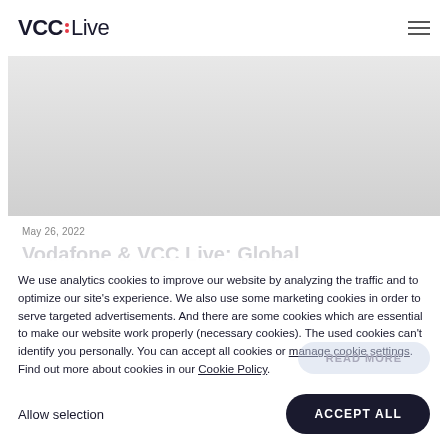VCC Live
[Figure (photo): Article card image area, light gray background]
May 26, 2022
Vodafone & VCC Live: Global Agreement Announcement
We use analytics cookies to improve our website by analyzing the traffic and to optimize our site's experience. We also use some marketing cookies in order to serve targeted advertisements. And there are some cookies which are essential to make our website work properly (necessary cookies). The used cookies can't identify you personally. You can accept all cookies or manage cookie settings. Find out more about cookies in our Cookie Policy.
Allow selection
ACCEPT ALL